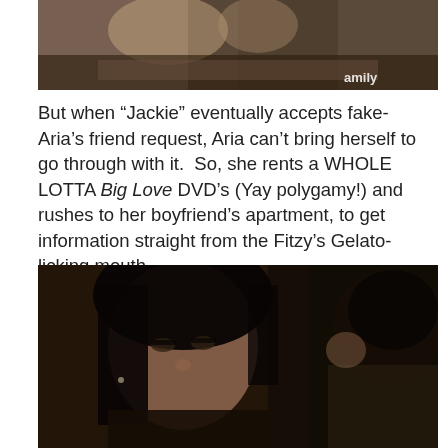[Figure (photo): Top partial photo showing people at a table, with 'amily' watermark visible at bottom right corner]
But when “Jackie” eventually accepts fake-Aria’s friend request, Aria can’t bring herself to go through with it.  So, she rents a WHOLE LOTTA Big Love DVD’s (Yay polygamy!) and rushes to her boyfriend’s apartment, to get information straight from the Fitzy’s Gelato-licking mouth . . .
[Figure (photo): A young woman with dark hair looking downward, with a man visible in the right side of the frame, appears to be a still from a TV show]